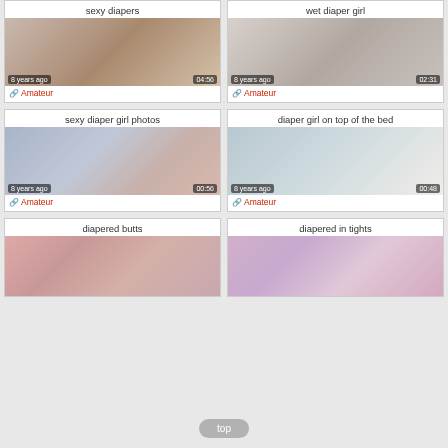[Figure (screenshot): Thumbnail for 'sexy diapers' video, 8 years ago, 04:56]
[Figure (screenshot): Thumbnail for 'wet diaper girl' video, 8 years ago, 02:31]
[Figure (screenshot): Thumbnail for 'sexy diaper girl photos' video, 8 years ago, 00:56]
[Figure (screenshot): Thumbnail for 'diaper girl on top of the bed' video, 8 years ago, 00:48]
[Figure (screenshot): Thumbnail for 'diapered butts' video]
[Figure (screenshot): Thumbnail for 'diapered in tights' video]
top
1